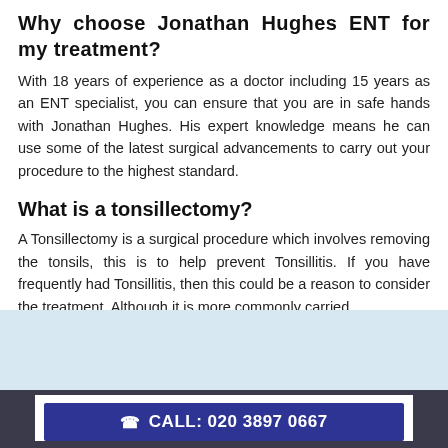Why choose Jonathan Hughes ENT for my treatment?
With 18 years of experience as a doctor including 15 years as an ENT specialist, you can ensure that you are in safe hands with Jonathan Hughes. His expert knowledge means he can use some of the latest surgical advancements to carry out your procedure to the highest standard.
What is a tonsillectomy?
A Tonsillectomy is a surgical procedure which involves removing the tonsils, this is to help prevent Tonsillitis. If you have frequently had Tonsillitis, then this could be a reason to consider the treatment. Although it is more commonly carried
CALL: 020 3897 0667